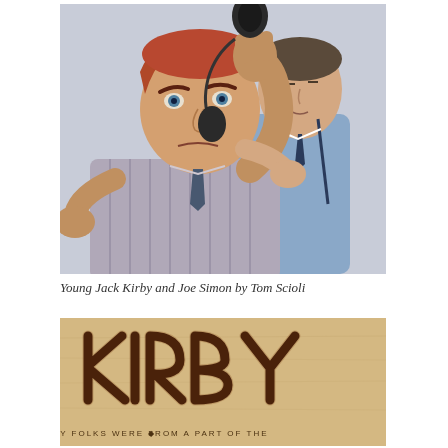[Figure (illustration): Color pencil illustration of young Jack Kirby holding a telephone/microphone aggressively in the foreground, with Joe Simon standing behind him in a blue shirt with suspenders and a dark tie. Art by Tom Scioli.]
Young Jack Kirby and Joe Simon by Tom Scioli
[Figure (illustration): Bottom portion of a vintage-style comic or book cover with the word 'KIRBY' in large stylized lettering on a tan/parchment background, with partial text at the bottom reading 'MY FOLKS WERE FROM A PART OF THE']